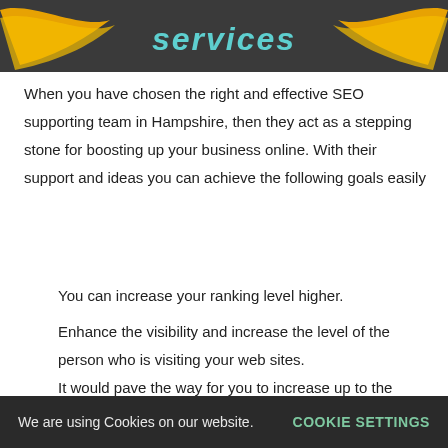[Figure (illustration): Dark gray banner with the word 'services' in teal/cyan stylized text, surrounded by yellow/orange swoosh ribbons on both sides.]
When you have chosen the right and effective SEO supporting team in Hampshire, then they act as a stepping stone for boosting up your business online. With their support and ideas you can achieve the following goals easily
You can increase your ranking level higher.
Enhance the visibility and increase the level of the person who is visiting your web sites.
It would pave the way for you to increase up to the sales.
Helps for the amplified brand reach
We are using Cookies on our website.  COOKIE SETTINGS